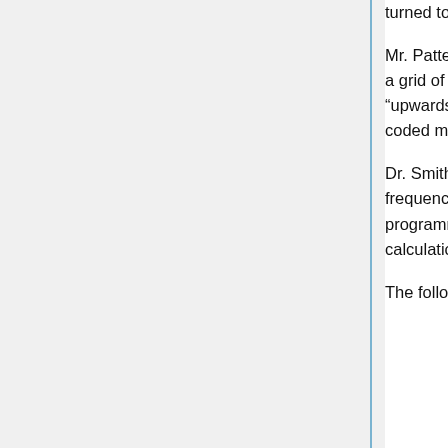turned to scramble words.
Mr. Patterson claimed “the utter impossibility of deciphering” his code, which involved a grid of the text, broken into sections. He estimated that a decoder might have to try “upwards of ninety millions of millions” of potential combinations in order to solve his coded message to Jefferson.
Dr. Smithline analyzed Jefferson’s State of the Union addresses and counted the frequency of every possible pair of letters in the speeches. He used a “dynamic programming” algorithm to test some “educated guesses.” Fewer than 100,000 calculations were needed to solve the cipher.
The following message emerged, a “little joke on Thomas Jefferson,” according to